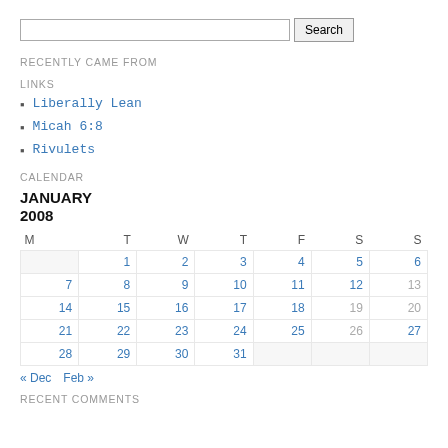Search [input] Search [button]
RECENTLY CAME FROM
LINKS
Liberally Lean
Micah 6:8
Rivulets
CALENDAR
JANUARY 2008
| M | T | W | T | F | S | S |
| --- | --- | --- | --- | --- | --- | --- |
|  | 1 | 2 | 3 | 4 | 5 | 6 |
| 7 | 8 | 9 | 10 | 11 | 12 | 13 |
| 14 | 15 | 16 | 17 | 18 | 19 | 20 |
| 21 | 22 | 23 | 24 | 25 | 26 | 27 |
| 28 | 29 | 30 | 31 |  |  |  |
« Dec   Feb »
RECENT COMMENTS